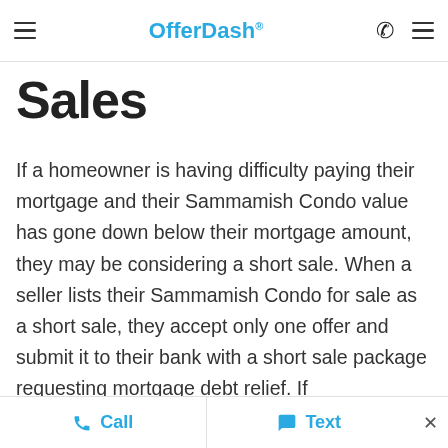OfferDash
Sales
If a homeowner is having difficulty paying their mortgage and their Sammamish Condo value has gone down below their mortgage amount, they may be considering a short sale. When a seller lists their Sammamish Condo for sale as a short sale, they accept only one offer and submit it to their bank with a short sale package requesting mortgage debt relief. If their bank...
Call   Text